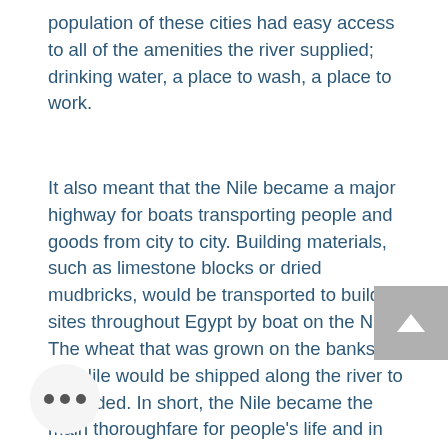population of these cities had easy access to all of the amenities the river supplied; drinking water, a place to wash, a place to work.
It also meant that the Nile became a major highway for boats transporting people and goods from city to city. Building materials, such as limestone blocks or dried mudbricks, would be transported to building sites throughout Egypt by boat on the Nile. The wheat that was grown on the banks of the Nile would be shipped along the river to be traded. In short, the Nile became the main thoroughfare for people's life and in Ancient Egypt.